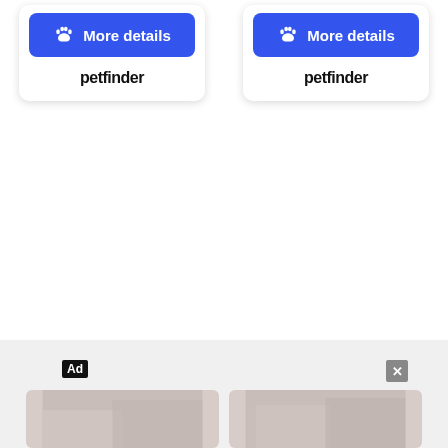[Figure (screenshot): Two Petfinder cards each with a blue 'More details' button featuring a paw icon, and 'petfinder' text in script font below each button.]
[Figure (screenshot): Advertisement bar at the bottom with 'Ad' label in black box, close X button in gray box, and two faded image placeholders.]